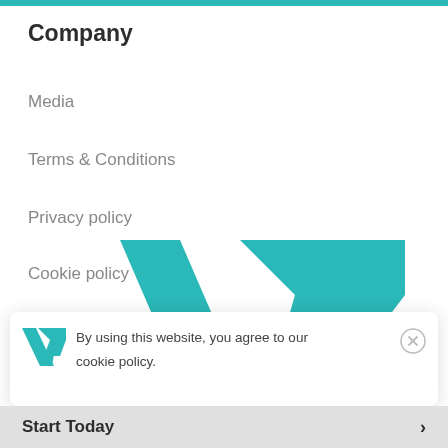Company
Media
Terms & Conditions
Privacy policy
Cookie policy
[Figure (logo): Teal/turquoise stylized V or checkmark logo — two angled trapezoid chevron shapes stacked, forming a bold geometric V mark]
By using this website, you agree to our cookie policy.
Start Today